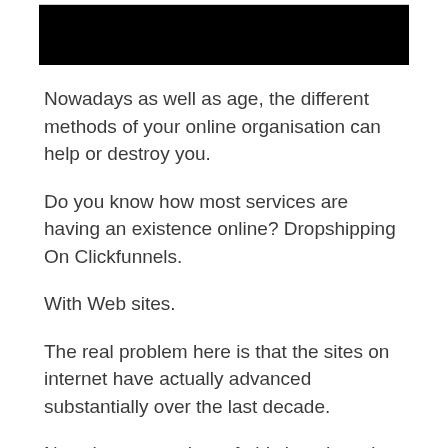[Figure (other): Black rectangular redacted/image bar at top of page]
Nowadays as well as age, the different methods of your online organisation can help or destroy you.
Do you know how most services are having an existence online? Dropshipping On Clickfunnels.
With Web sites.
The real problem here is that the sites on internet have actually advanced substantially over the last decade.
Now the approaches of old sites doesn't work in